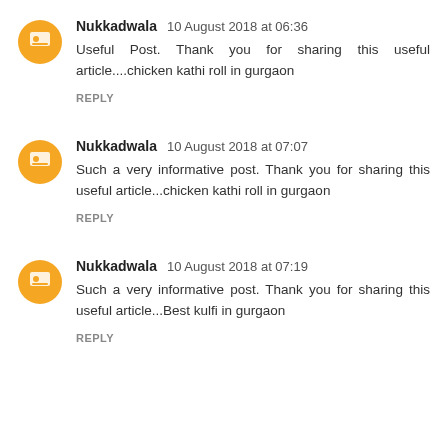Nukkadwala  10 August 2018 at 06:36
Useful Post. Thank you for sharing this useful article....chicken kathi roll in gurgaon
REPLY
Nukkadwala  10 August 2018 at 07:07
Such a very informative post. Thank you for sharing this useful article...chicken kathi roll in gurgaon
REPLY
Nukkadwala  10 August 2018 at 07:19
Such a very informative post. Thank you for sharing this useful article...Best kulfi in gurgaon
REPLY